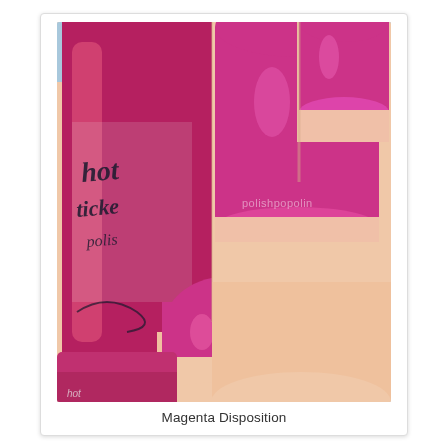[Figure (photo): Close-up photo of a hand holding a Hot Topic nail polish bottle. The nails are painted in a vibrant magenta/hot pink color. The nail polish bottle label is partially visible showing 'hot topic polish' text. A watermark reads 'polishpopolin' on the image.]
Magenta Disposition